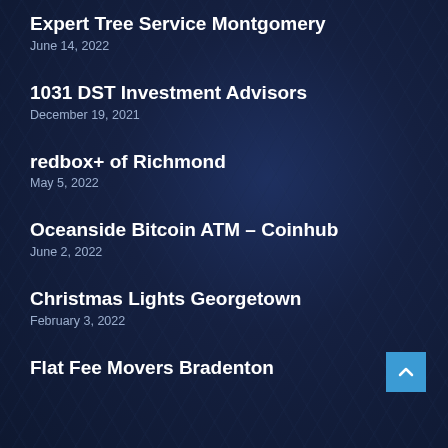Expert Tree Service Montgomery
June 14, 2022
1031 DST Investment Advisors
December 19, 2021
redbox+ of Richmond
May 5, 2022
Oceanside Bitcoin ATM – Coinhub
June 2, 2022
Christmas Lights Georgetown
February 3, 2022
Flat Fee Movers Bradenton